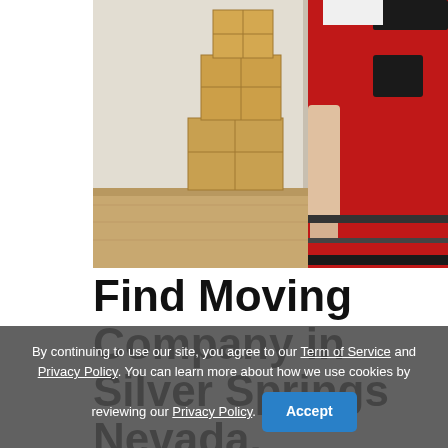[Figure (photo): A mover in red overalls standing next to stacked cardboard boxes in an empty room with light wood flooring]
Find Moving Company in Silver Springs Nevada.
By continuing to use our site, you agree to our Term of Service and Privacy Policy. You can learn more about how we use cookies by reviewing our Privacy Policy.